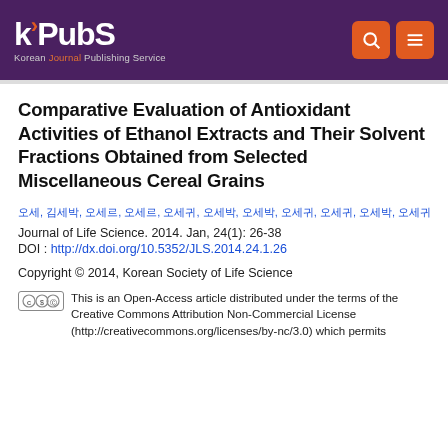[Figure (logo): KPubS - Korean Journal Publishing Service logo with header banner]
Comparative Evaluation of Antioxidant Activities of Ethanol Extracts and Their Solvent Fractions Obtained from Selected Miscellaneous Cereal Grains
Authors list (Korean names, hyperlinked)
Journal of Life Science. 2014. Jan, 24(1): 26-38
DOI : http://dx.doi.org/10.5352/JLS.2014.24.1.26
Copyright © 2014, Korean Society of Life Science
This is an Open-Access article distributed under the terms of the Creative Commons Attribution Non-Commercial License (http://creativecommons.org/licenses/by-nc/3.0) which permits